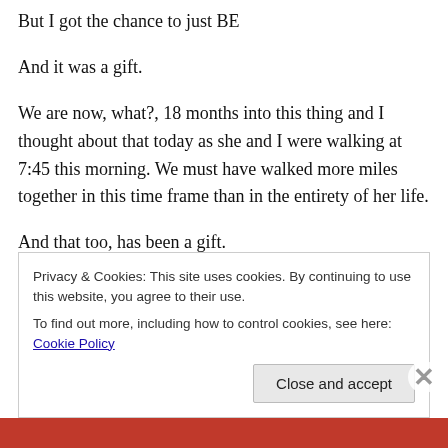But I got the chance to just BE
And it was a gift.
We are now, what?, 18 months into this thing and I thought about that today as she and I were walking at 7:45 this morning. We must have walked more miles together in this time frame than in the entirety of her life.
And that too, has been a gift.
I am grateful for the person she is and the gentle ways she
Privacy & Cookies: This site uses cookies. By continuing to use this website, you agree to their use.
To find out more, including how to control cookies, see here: Cookie Policy